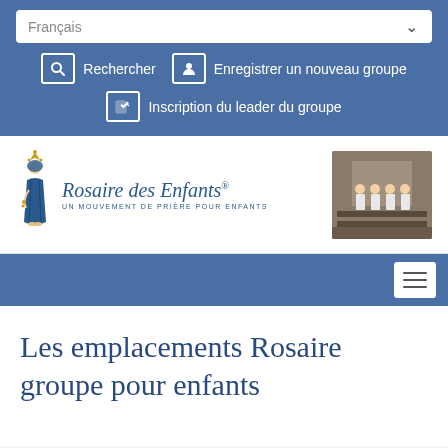Français
Rechercher
Enregistrer un nouveau groupe
Inscription du leader du groupe
[Figure (logo): Rosaire des Enfants logo with Mary figure illustration and text 'Rosaire des Enfants — UN MOUVEMENT DE PRIÈRE POUR ENFANTS']
[Figure (photo): Photo of children kneeling in prayer in a church, dressed in white]
Les emplacements Rosaire groupe pour enfants